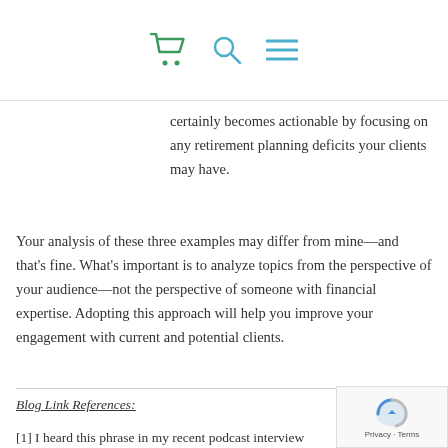[cart icon] [search icon] [menu icon]
certainly becomes actionable by focusing on any retirement planning deficits your clients may have.
Your analysis of these three examples may differ from mine—and that's fine. What's important is to analyze topics from the perspective of your audience—not the perspective of someone with financial expertise. Adopting this approach will help you improve your engagement with current and potential clients.
Blog Link References:
[1] I heard this phrase in my recent podcast interview